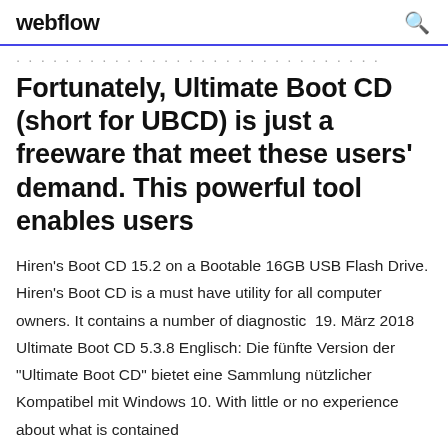webflow
· · · · · · · ·· · · ·· · ·· · ·· · ···· ·· · ·
Fortunately, Ultimate Boot CD (short for UBCD) is just a freeware that meet these users' demand. This powerful tool enables users
Hiren's Boot CD 15.2 on a Bootable 16GB USB Flash Drive. Hiren's Boot CD is a must have utility for all computer owners. It contains a number of diagnostic  19. März 2018 Ultimate Boot CD 5.3.8 Englisch: Die fünfte Version der "Ultimate Boot CD" bietet eine Sammlung nützlicher Kompatibel mit Windows 10. With little or no experience about what is contained